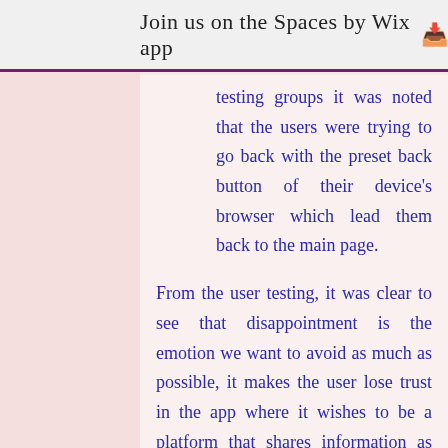Join us on the Spaces by Wix app
testing groups it was noted that the users were trying to go back with the preset back button of their device's browser which lead them back to the main page.
From the user testing, it was clear to see that disappointment is the emotion we want to avoid as much as possible, it makes the user lose trust in the app where it wishes to be a platform that shares information as aid. As much as we want to help, giving false hope can negatively affect our chances of supporting our users. That's why redesigning the app with a